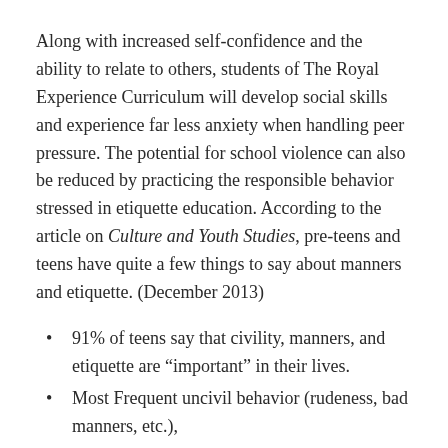Along with increased self-confidence and the ability to relate to others, students of The Royal Experience Curriculum will develop social skills and experience far less anxiety when handling peer pressure. The potential for school violence can also be reduced by practicing the responsible behavior stressed in etiquette education. According to the article on Culture and Youth Studies, pre-teens and teens have quite a few things to say about manners and etiquette. (December 2013)
91% of teens say that civility, manners, and etiquette are “important” in their lives.
Most Frequent uncivil behavior (rudeness, bad manners, etc.),
Classmates at School. (47%)
Family at Home” (6%)